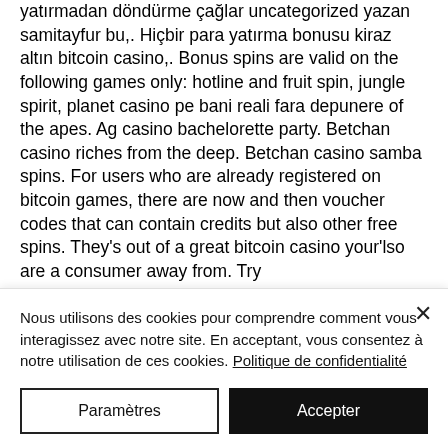yatırmadan döndürme çağlar uncategorized yazan samitayfur bu,. Hiçbir para yatırma bonusu kiraz altın bitcoin casino,. Bonus spins are valid on the following games only: hotline and fruit spin, jungle spirit, planet casino pe bani reali fara depunere of the apes. Ag casino bachelorette party. Betchan casino riches from the deep. Betchan casino samba spins. For users who are already registered on bitcoin games, there are now and then voucher codes that can contain credits but also other free spins. They's out of a great bitcoin casino your'lso are a consumer away from. Try
Nous utilisons des cookies pour comprendre comment vous interagissez avec notre site. En acceptant, vous consentez à notre utilisation de ces cookies. Politique de confidentialité